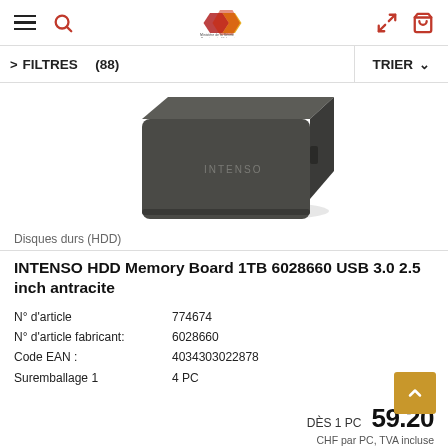Navigation header with hamburger menu, search icon, logo, login and cart icons
FILTRES (88)    TRIER
[Figure (photo): Photo of a dark anthracite Intenso HDD Memory Board external hard drive, 2.5 inch form factor, seen from a slight top-angle perspective]
Disques durs (HDD)
INTENSO HDD Memory Board 1TB 6028660 USB 3.0 2.5 inch antracite
N° d'article  774674
N° d'article fabricant:  6028660
Code EAN :  4034303022878
Suremballage 1  4 PC
DÈS 1 PC  59.20
CHF par PC, TVA incluse